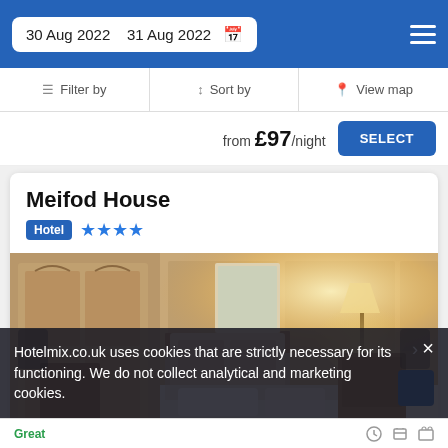30 Aug 2022  31 Aug 2022
Filter by  Sort by  View map
from £97/night  SELECT
Meifod House
Hotel ★★★★
[Figure (photo): Hotel bedroom with four-poster bed, warm lighting, ornate wooden furniture and paneled walls]
Hotelmix.co.uk uses cookies that are strictly necessary for its functioning. We do not collect analytical and marketing cookies.
Great